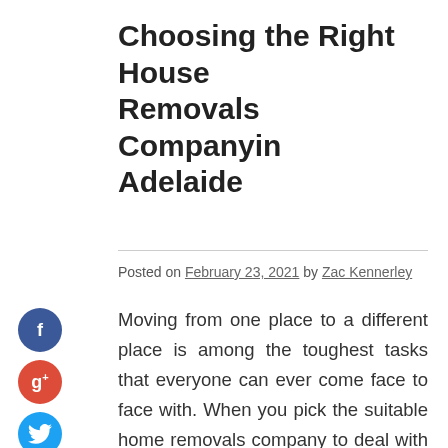Choosing the Right House Removals Companyin Adelaide
Posted on February 23, 2021 by Zac Kennerley
Moving from one place to a different place is among the toughest tasks that everyone can ever come face to face with. When you pick the suitable home removals company to deal with this, then you are going to have the ability to move everything securely and in a really brief time period. In case you've got plenty of stuff, it's fantastic thoughts having